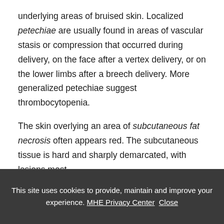underlying areas of bruised skin. Localized petechiae are usually found in areas of vascular stasis or compression that occurred during delivery, on the face after a vertex delivery, or on the lower limbs after a breech delivery. More generalized petechiae suggest thrombocytopenia.
The skin overlying an area of subcutaneous fat necrosis often appears red. The subcutaneous tissue is hard and sharply demarcated, with lesions most
This site uses cookies to provide, maintain and improve your experience. MHE Privacy Center Close